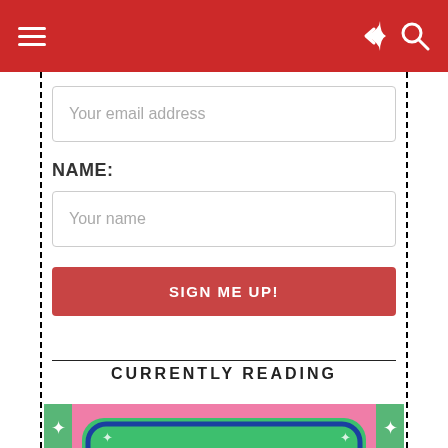Navigation bar with hamburger menu, share icon, and search icon
Your email address
NAME:
Your name
SIGN ME UP!
CURRENTLY READING
[Figure (illustration): Book cover for 'VIVANT' with green rounded rectangle title badge on pink background with sparkles and decorative borders]